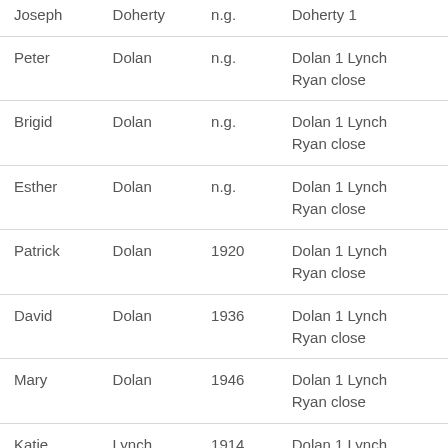| Joseph | Doherty | n.g. | Doherty 1 |
| Peter | Dolan | n.g. | Dolan 1 Lynch Ryan close |
| Brigid | Dolan | n.g. | Dolan 1 Lynch Ryan close |
| Esther | Dolan | n.g. | Dolan 1 Lynch Ryan close |
| Patrick | Dolan | 1920 | Dolan 1 Lynch Ryan close |
| David | Dolan | 1936 | Dolan 1 Lynch Ryan close |
| Mary | Dolan | 1946 | Dolan 1 Lynch Ryan close |
| Katie | Lynch | 1914 | Dolan 1 Lynch |